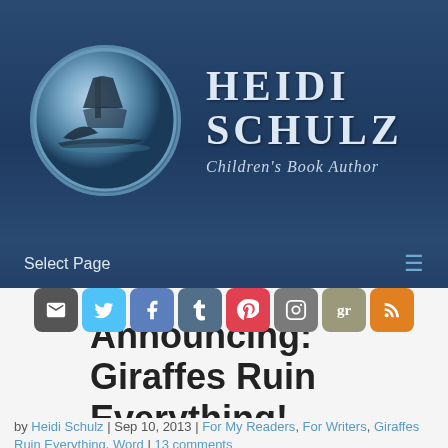[Figure (logo): Circular logo with shark/ship illustration in blue tones]
HEIDI SCHULZ
Children's Book Author
Select Page
[Figure (infographic): Row of social media share buttons: email, Twitter, Facebook, Tumblr, Pinterest, Instagram, Goodreads, RSS]
Announcing: Giraffes Ruin Everything!
by Heidi Schulz | Sep 10, 2013 | For My Readers, For Writers, Giraffes Ruin Everything, Word | 13 comments
I got this out-of-the-blue note in the mail yesterday.
[Figure (photo): Handwritten note reading: Hi, Remember this?]